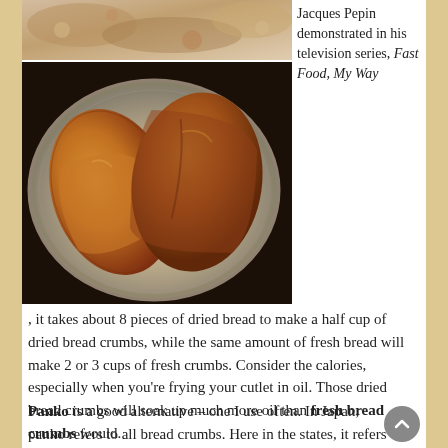[Figure (photo): Top strip photo showing bread crumbs or similar food ingredient close-up]
[Figure (photo): Main food photo: breaded/fried cutlets on a silver decorative plate]
Jacques Pepin demonstrated in his television series, Fast Food, My Way, it takes about 8 pieces of dried bread to make a half cup of dried bread crumbs, while the same amount of fresh bread will make 2 or 3 cups of fresh crumbs. Consider the calories, especially when you're frying your cutlet in oil. Those dried bread crumbs will soak up much more oil than fresh bread crumbs would.
Panko is a good alternative – one I use often. In Japan, panko refers to all bread crumbs. Here in the states, it refers to a white, dried, coarse bread crumb that is lighter